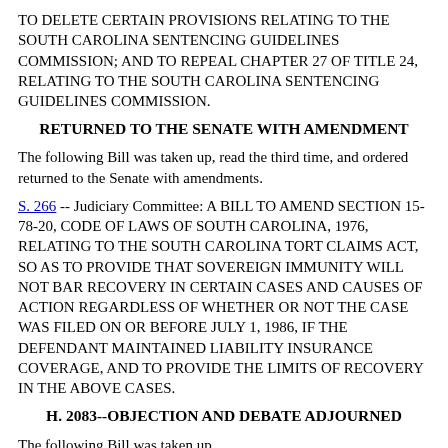TO DELETE CERTAIN PROVISIONS RELATING TO THE SOUTH CAROLINA SENTENCING GUIDELINES COMMISSION; AND TO REPEAL CHAPTER 27 OF TITLE 24, RELATING TO THE SOUTH CAROLINA SENTENCING GUIDELINES COMMISSION.
RETURNED TO THE SENATE WITH AMENDMENT
The following Bill was taken up, read the third time, and ordered returned to the Senate with amendments.
S. 266 -- Judiciary Committee: A BILL TO AMEND SECTION 15-78-20, CODE OF LAWS OF SOUTH CAROLINA, 1976, RELATING TO THE SOUTH CAROLINA TORT CLAIMS ACT, SO AS TO PROVIDE THAT SOVEREIGN IMMUNITY WILL NOT BAR RECOVERY IN CERTAIN CASES AND CAUSES OF ACTION REGARDLESS OF WHETHER OR NOT THE CASE WAS FILED ON OR BEFORE JULY 1, 1986, IF THE DEFENDANT MAINTAINED LIABILITY INSURANCE COVERAGE, AND TO PROVIDE THE LIMITS OF RECOVERY IN THE ABOVE CASES.
H. 2083--OBJECTION AND DEBATE ADJOURNED
The following Bill was taken up.